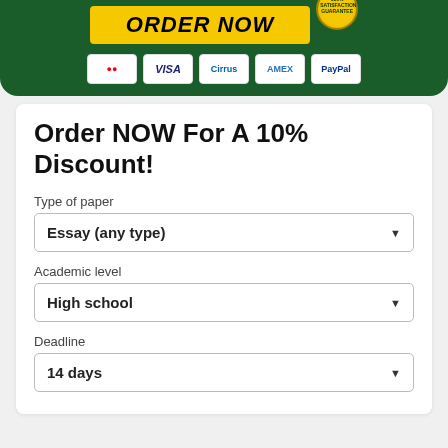[Figure (screenshot): Dark green banner with ORDER NOW button in yellow, 100% satisfaction guarantee badge, and payment icons (Mastercard, Visa, Cirrus, Amex, PayPal)]
Order NOW For A 10% Discount!
Type of paper
Essay (any type)
Academic level
High school
Deadline
14 days